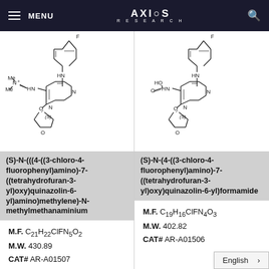MENU | AXIOS RESEARCH
[Figure (illustration): Chemical structure of (S)-N-(((4-((3-chloro-4-fluorophenyl)amino)-7-((tetrahydrofuran-3-yl)oxy)quinazolin-6-yl)amino)methylene)-N-methylmethanaminium]
(S)-N-(((4-((3-chloro-4-fluorophenyl)amino)-7-((tetrahydrofuran-3-yl)oxy)quinazolin-6-yl)amino)methylene)-N-methylmethanaminium
M.F. C21H22ClFN5O2
M.W. 430.89
CAT# AR-A01507
[Figure (illustration): Chemical structure of (S)-N-(4-((3-chloro-4-fluorophenyl)amino)-7-((tetrahydrofuran-3-yl)oxy)quinazolin-6-yl)formamide]
(S)-N-(4-((3-chloro-4-fluorophenyl)amino)-7-((tetrahydrofuran-3-yl)oxy)quinazolin-6-yl)formamide
M.F. C19H16ClFN4O3
M.W. 402.82
CAT# AR-A01506